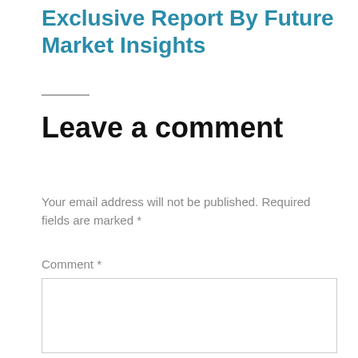Exclusive Report By Future Market Insights
Leave a comment
Your email address will not be published. Required fields are marked *
Comment *